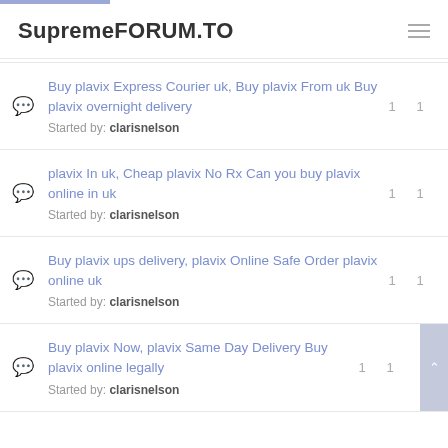SupremeFORUM.TO
Buy plavix Express Courier uk, Buy plavix From uk Buy plavix overnight delivery
Started by: clarisnelson
plavix In uk, Cheap plavix No Rx Can you buy plavix online in uk
Started by: clarisnelson
Buy plavix ups delivery, plavix Online Safe Order plavix online uk
Started by: clarisnelson
Buy plavix Now, plavix Same Day Delivery Buy plavix online legally
Started by: clarisnelson